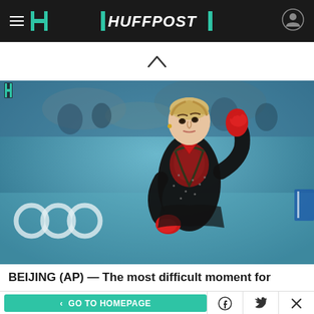HuffPost
[Figure (photo): Figure skater in black and red costume with red gloves performing at the Beijing Winter Olympics, Olympic rings visible in background]
BEIJING (AP) — The most difficult moment for
< GO TO HOMEPAGE | Facebook share | Twitter share | Close